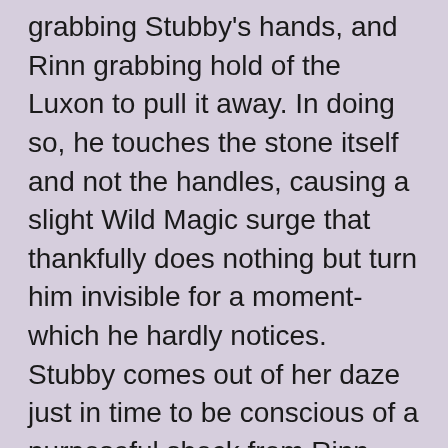the Luxon. They both rush out, Famitar grabbing Stubby's hands, and Rinn grabbing hold of the Luxon to pull it away. In doing so, he touches the stone itself and not the handles, causing a slight Wild Magic surge that thankfully does nothing but turn him invisible for a moment- which he hardly notices. Stubby comes out of her daze just in time to be conscious of a purposeful shock from Rinn (hoping to wake her up), and immediately grabs her notebook and begins writing things down. She seems back to normal enough for the other two.